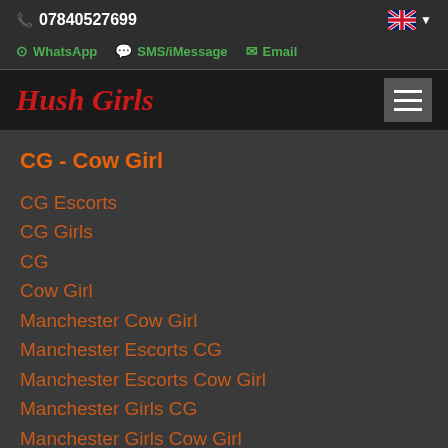07840527699
WhatsApp  SMS/iMessage  Email
Hush Girls
CG - Cow Girl
CG Escorts
CG Girls
CG
Cow Girl
Manchester Cow Girl
Manchester Escorts CG
Manchester Escorts Cow Girl
Manchester Girls CG
Manchester Girls Cow Girl